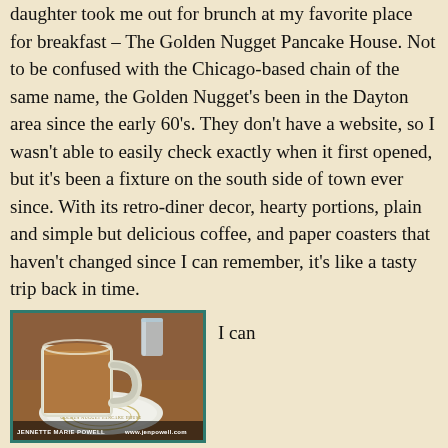daughter took me out for brunch at my favorite place for breakfast – The Golden Nugget Pancake House. Not to be confused with the Chicago-based chain of the same name, the Golden Nugget's been in the Dayton area since the early 60's. They don't have a website, so I wasn't able to easily check exactly when it first opened, but it's been a fixture on the south side of town ever since. With its retro-diner decor, hearty portions, plain and simple but delicious coffee, and paper coasters that haven't changed since I can remember, it's like a tasty trip back in time.
[Figure (photo): Photo of a white coffee mug filled with light brown coffee, sitting on a white coaster with Golden Nugget Pancake House logo, on a wooden table. A glass is visible in the background. Photo credited to Jennette Marie Powell, www.jenpowell.com.]
I can